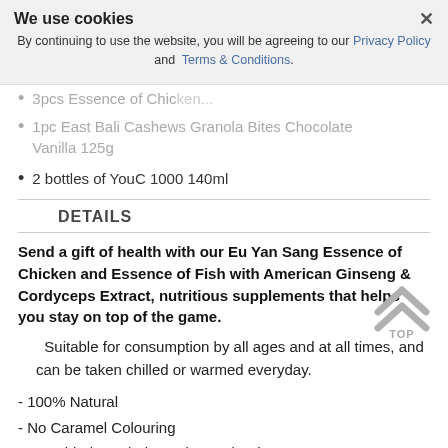[Figure (screenshot): Cookie consent banner overlay with title 'We use cookies', close button X, and text about Privacy Policy and Terms & Conditions links.]
3pcs Essence of Chicken... (partially obscured by cookie banner)
1pc East Bali Cashews Granola Bites Chocolate Vanilla 125g (partially obscured by cookie banner)
2 bottles of YouC 1000 140ml
DETAILS
Send a gift of health with our Eu Yan Sang Essence of Chicken and Essence of Fish with American Ginseng & Cordyceps Extract, nutritious supplements that helps you stay on top of the game.
Suitable for consumption by all ages and at all times, and can be taken chilled or warmed everyday.
- 100% Natural
- No Caramel Colouring
- No Added Food Flavouring and Salt
- No Added Preservatives
- No Cholesterol